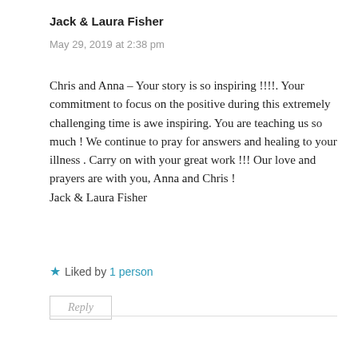Jack & Laura Fisher
May 29, 2019 at 2:38 pm
Chris and Anna – Your story is so inspiring !!!!. Your commitment to focus on the positive during this extremely challenging time is awe inspiring. You are teaching us so much ! We continue to pray for answers and healing to your illness . Carry on with your great work !!! Our love and prayers are with you, Anna and Chris !
Jack & Laura Fisher
★ Liked by 1 person
Reply